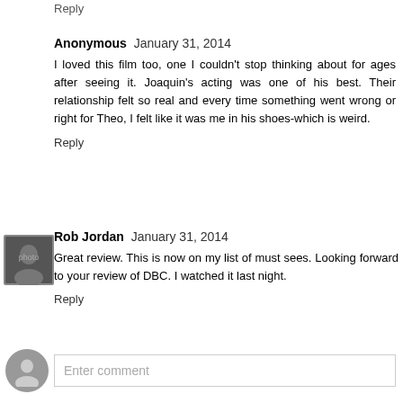Reply
Anonymous  January 31, 2014
I loved this film too, one I couldn't stop thinking about for ages after seeing it. Joaquin's acting was one of his best. Their relationship felt so real and every time something went wrong or right for Theo, I felt like it was me in his shoes-which is weird.
Reply
[Figure (photo): Small avatar photo of Rob Jordan, appears to be a dark/black and white image of a person]
Rob Jordan  January 31, 2014
Great review. This is now on my list of must sees. Looking forward to your review of DBC. I watched it last night.
Reply
Enter comment